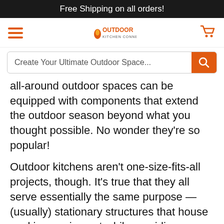Free Shipping on all orders!
[Figure (logo): Outdoor kitchen connection logo with hamburger menu and shopping cart]
Create Your Ultimate Outdoor Space...
all-around outdoor spaces can be equipped with components that extend the outdoor season beyond what you thought possible. No wonder they’re so popular!
Outdoor kitchens aren’t one-size-fits-all projects, though. It’s true that they all serve essentially the same purpose — (usually) stationary structures that house cooking equipment while providing a central gathering place in your backyard — but one of the biggest benefits of outdoor kitchens is that they’re highly customizable. As we hinted at above, yours can include additional